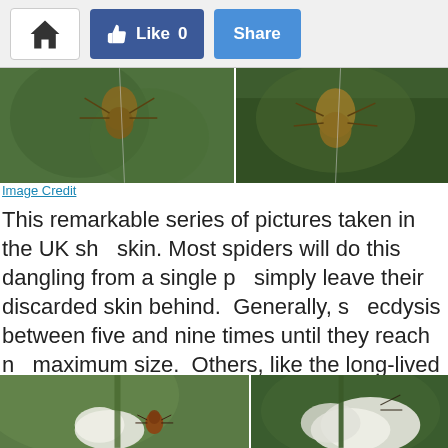[Figure (screenshot): Website toolbar with home button, Like 0 button (Facebook style, dark blue), and Share button (light blue)]
[Figure (photo): Two side-by-side macro photographs of a spider molting, taken in the UK, showing the spider emerging from its shed skin against a green mossy background]
Image Credit
This remarkable series of pictures taken in the UK she skin. Most spiders will do this dangling from a single p simply leave their discarded skin behind.  Generally, s ecdysis between five and nine times until they reach n maximum size.  Others, like the long-lived tarantulas a will molt every year even once they mature.
[Figure (photo): Two side-by-side macro photographs of a spider/tick on plant stems and white flower petals]